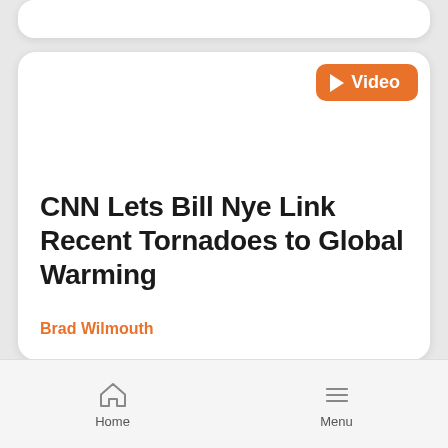[Figure (screenshot): Orange video badge with play triangle icon and the word 'Video' in white text on orange rounded rectangle background]
CNN Lets Bill Nye Link Recent Tornadoes to Global Warming
Brad Wilmouth
Home   Menu